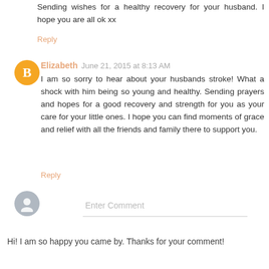Sending wishes for a healthy recovery for your husband. I hope you are all ok xx
Reply
Elizabeth  June 21, 2015 at 8:13 AM
I am so sorry to hear about your husbands stroke! What a shock with him being so young and healthy. Sending prayers and hopes for a good recovery and strength for you as your care for your little ones. I hope you can find moments of grace and relief with all the friends and family there to support you.
Reply
Enter Comment
Hi! I am so happy you came by. Thanks for your comment!